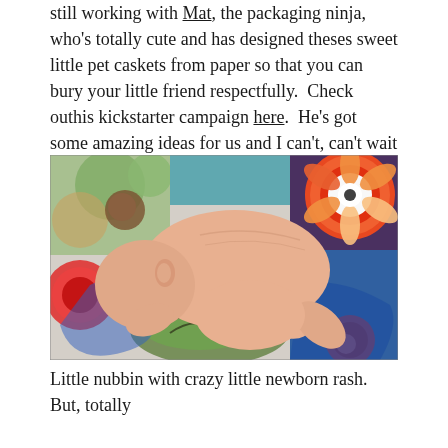still working with Mat, the packaging ninja, who's totally cute and has designed theses sweet little pet caskets from paper so that you can bury your little friend respectfully.  Check outhis kickstarter campaign here.  He's got some amazing ideas for us and I can't, can't wait to see how they turn out!
[Figure (photo): A newborn baby lying face down on a colorful patchwork quilt with various circular and floral patterns in green, red, blue, and purple.]
Little nubbin with crazy little newborn rash.  But, totally